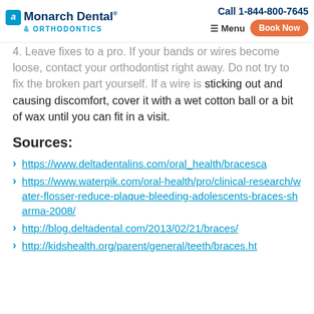Monarch Dental & Orthodontics | Call 1-844-800-7645 | Menu | Book Now
4. Leave fixes to a pro. If your bands or wires become loose, contact your orthodontist right away. Do not try to fix the broken part yourself. If a wire is sticking out and causing discomfort, cover it with a wet cotton ball or a bit of wax until you can fit in a visit.
Sources:
https://www.deltadentalins.com/oral_health/bracesca
https://www.waterpik.com/oral-health/pro/clinical-research/water-flosser-reduce-plaque-bleeding-adolescents-braces-sharma-2008/
http://blog.deltadental.com/2013/02/21/braces/
http://kidshealth.org/parent/general/teeth/braces.ht